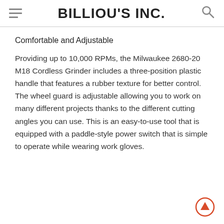BILLIOU'S INC.
Comfortable and Adjustable
Providing up to 10,000 RPMs, the Milwaukee 2680-20 M18 Cordless Grinder includes a three-position plastic handle that features a rubber texture for better control. The wheel guard is adjustable allowing you to work on many different projects thanks to the different cutting angles you can use. This is an easy-to-use tool that is equipped with a paddle-style power switch that is simple to operate while wearing work gloves.